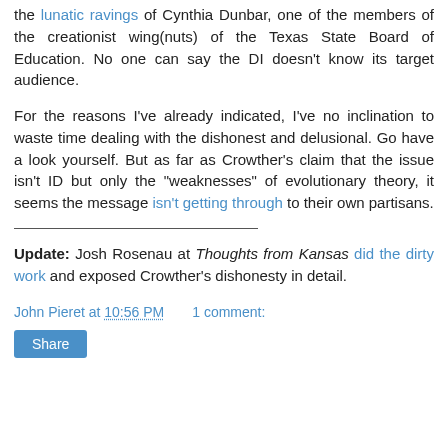the lunatic ravings of Cynthia Dunbar, one of the members of the creationist wing(nuts) of the Texas State Board of Education. No one can say the DI doesn't know its target audience.
For the reasons I've already indicated, I've no inclination to waste time dealing with the dishonest and delusional. Go have a look yourself. But as far as Crowther's claim that the issue isn't ID but only the "weaknesses" of evolutionary theory, it seems the message isn't getting through to their own partisans.
Update: Josh Rosenau at Thoughts from Kansas did the dirty work and exposed Crowther's dishonesty in detail.
John Pieret at 10:56 PM    1 comment:
Share